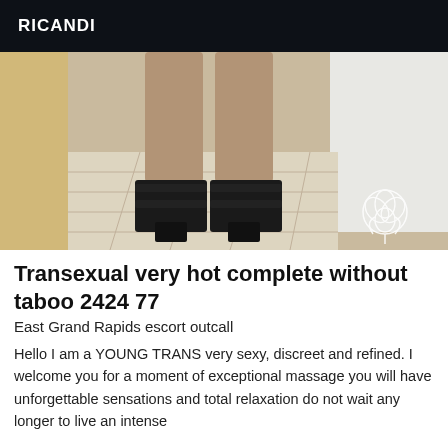RICANDI
[Figure (photo): Photo showing the legs of a person wearing black high-heel sandals, standing on a tiled floor near a door frame]
Transexual very hot complete without taboo 2424 77
East Grand Rapids escort outcall
Hello I am a YOUNG TRANS very sexy, discreet and refined. I welcome you for a moment of exceptional massage you will have unforgettable sensations and total relaxation do not wait any longer to live an intense